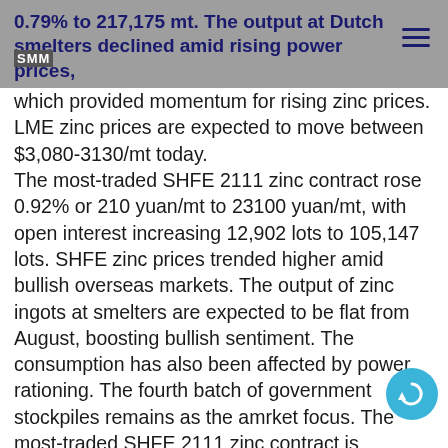0.79% to 217,175 mt. The output at Dutch smelters declined amid rising power prices,
which provided momentum for rising zinc prices. LME zinc prices are expected to move between $3,080-3130/mt today. The most-traded SHFE 2111 zinc contract rose 0.92% or 210 yuan/mt to 23100 yuan/mt, with open interest increasing 12,902 lots to 105,147 lots. SHFE zinc prices trended higher amid bullish overseas markets. The output of zinc ingots at smelters are expected to be flat from August, boosting bullish sentiment. The consumption has also been affected by power rationing. The fourth batch of government stockpiles remains as the amrket focus. The most-traded SHFE 2111 zinc contract is